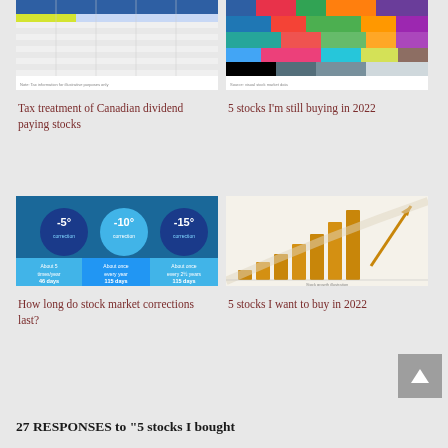[Figure (screenshot): Screenshot of a spreadsheet-style table with tax treatment data for Canadian dividend paying stocks]
[Figure (infographic): Colorful mosaic/tile chart showing stocks or sectors in various colors]
Tax treatment of Canadian dividend paying stocks
5 stocks I'm still buying in 2022
[Figure (infographic): Infographic showing stock market correction circles labeled -5, -10, -15 with blue background and statistics]
[Figure (bar-chart): Rising bar chart with gold/bronze bars and an upward arrow, representing stock growth]
How long do stock market corrections last?
5 stocks I want to buy in 2022
27 RESPONSES to "5 stocks I bought